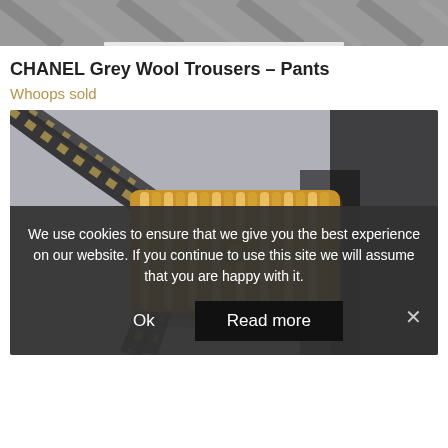[Figure (photo): Top portion of a grey striped fabric product image (partially cropped)]
CHANEL Grey Wool Trousers – Pants
Whoops sold
[Figure (photo): Gold ribbed metal clutch bag with black and gold rope chain strap on grey background]
We use cookies to ensure that we give you the best experience on our website. If you continue to use this site we will assume that you are happy with it.
Ok   Read more